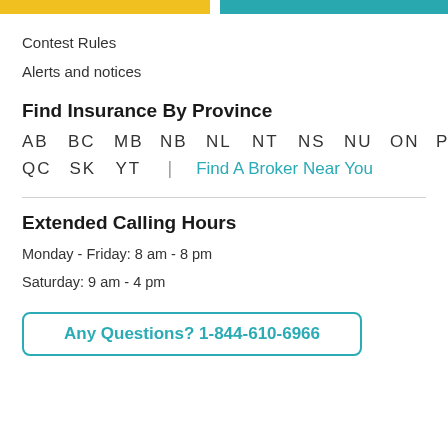Contest Rules
Alerts and notices
Find Insurance By Province
AB  BC  MB  NB  NL  NT  NS  NU  ON  PE
QC  SK  YT  |  Find A Broker Near You
Extended Calling Hours
Monday - Friday: 8 am - 8 pm
Saturday: 9 am - 4 pm
Any Questions? 1-844-610-6966